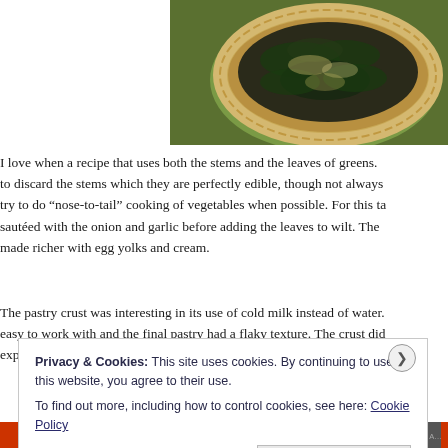[Figure (photo): Close-up photo of a spinach/greens tart with flaky pastry crust on a green plate, photographed from above]
I love when a recipe that uses both the stems and the leaves of greens. to discard the stems which they are perfectly edible, though not always try to do “nose-to-tail” cooking of vegetables when possible. For this ta sautéed with the onion and garlic before adding the leaves to wilt. The made richer with egg yolks and cream.
The pastry crust was interesting in its use of cold milk instead of water. easy to work with and the final pastry had a flaky texture. The crust did expected, but I’ll admit I’ve been having some issues with my oven tem
Privacy & Cookies: This site uses cookies. By continuing to use this website, you agree to their use.
To find out more, including how to control cookies, see here: Cookie Policy
Close and accept